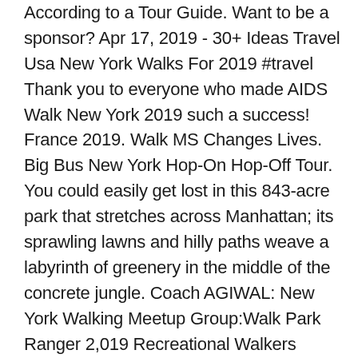According to a Tour Guide. Want to be a sponsor? Apr 17, 2019 - 30+ Ideas Travel Usa New York Walks For 2019 #travel Thank you to everyone who made AIDS Walk New York 2019 such a success! France 2019. Walk MS Changes Lives. Big Bus New York Hop-On Hop-Off Tour. You could easily get lost in this 843-acre park that stretches across Manhattan; its sprawling lawns and hilly paths weave a labyrinth of greenery in the middle of the concrete jungle. Coach AGIWAL: New York Walking Meetup Group:Walk Park Ranger 2,019 Recreational Walkers "Friendly Native New Yorker" Walking Tours! The more touristy section in the 50's and 60's gives way to a quieter, understated affluence with high-end designer stores placed one after the other. Whether you're traveling solo or planning a family vacation, here are the 50 best places to visit in 2020. Well here it is eight months later and Arsenal are in the finals. 14 free walks and tours in New York City (NYC) Sat, 01/16/2021 - and on...